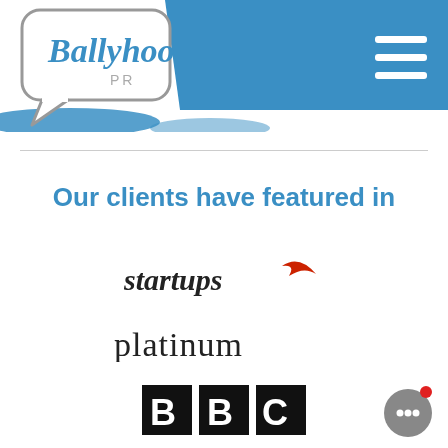[Figure (logo): Ballyhoo PR logo in speech bubble shape with grey border, and blue geometric banner with hamburger menu icon on right]
Our clients have featured in
[Figure (logo): Startups logo in italic text with red swoosh graphic]
[Figure (logo): platinum magazine logo in serif lowercase text]
[Figure (logo): BBC logo in white bold text on black tiles]